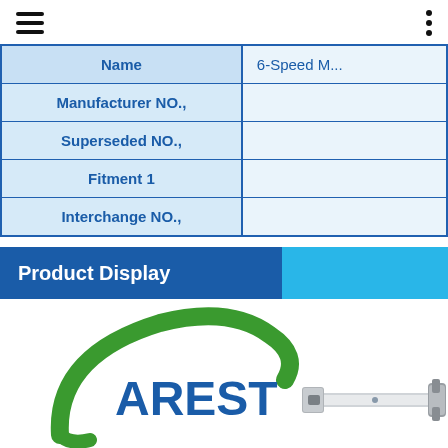| Name | 6-Speed ... |
| --- | --- |
| Manufacturer NO., |  |
| Superseded NO., |  |
| Fitment 1 |  |
| Interchange NO., |  |
Product Display
[Figure (photo): AREST branded automotive part (shift linkage rod) with logo and product image]